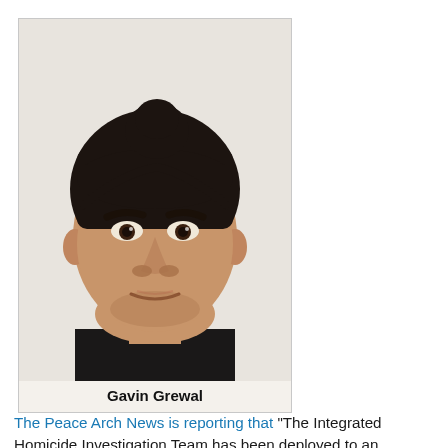[Figure (photo): Mugshot/portrait photo of a young South Asian man with dark hair tied up in a bun, wearing a dark top, looking directly at camera with a serious expression.]
Gavin Grewal
The Peace Arch News is reporting that "The Integrated Homicide Investigation Team has been deployed to an apartment in North Vancouver where a man was found dead. In a statement Saturday, IHIT said 30-year-old Gavinder Grewal was found dead in the 1500 block of Fern Street. His death is believed to be targeted." CBC is reporting that he